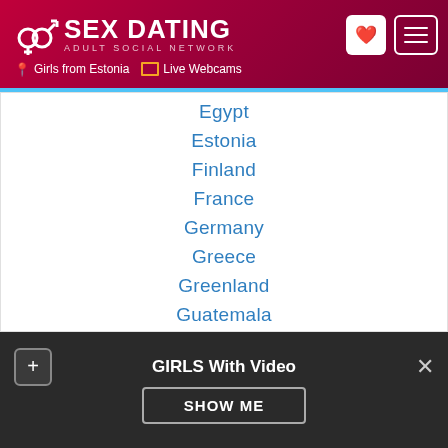SEX DATING ADULT SOCIAL NETWORK — Girls from Estonia | Live Webcams
Egypt
Estonia
Finland
France
Germany
Greece
Greenland
Guatemala
Haiti
Hong Kong
Hungary
India
Indonesia
GIRLS With Video
SHOW ME